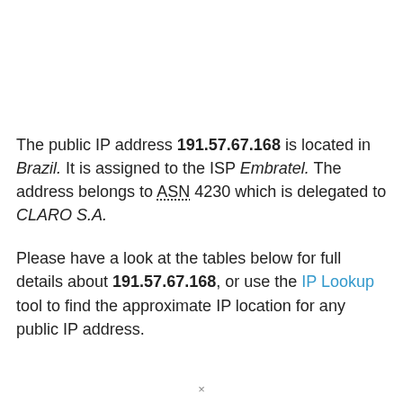The public IP address 191.57.67.168 is located in Brazil. It is assigned to the ISP Embratel. The address belongs to ASN 4230 which is delegated to CLARO S.A.
Please have a look at the tables below for full details about 191.57.67.168, or use the IP Lookup tool to find the approximate IP location for any public IP address.